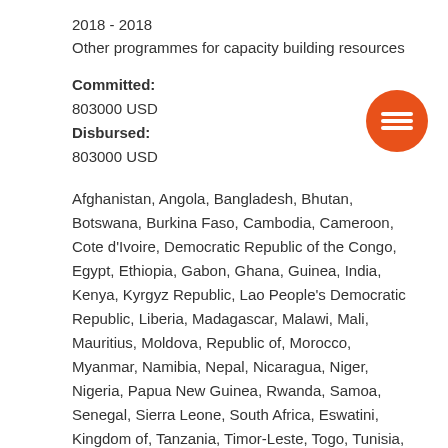2018 - 2018
Other programmes for capacity building resources
Committed:
803000 USD
Disbursed:
803000 USD
Afghanistan, Angola, Bangladesh, Bhutan, Botswana, Burkina Faso, Cambodia, Cameroon, Cote d'Ivoire, Democratic Republic of the Congo, Egypt, Ethiopia, Gabon, Ghana, Guinea, India, Kenya, Kyrgyz Republic, Lao People's Democratic Republic, Liberia, Madagascar, Malawi, Mali, Mauritius, Moldova, Republic of, Morocco, Myanmar, Namibia, Nepal, Nicaragua, Niger, Nigeria, Papua New Guinea, Rwanda, Samoa, Senegal, Sierra Leone, South Africa, Eswatini, Kingdom of, Tanzania, Timor-Leste, Togo, Tunisia, Uganda, Uzbekistan, Viet Nam, Yemen, Zimbabwe, Kiribati
Government of Japan